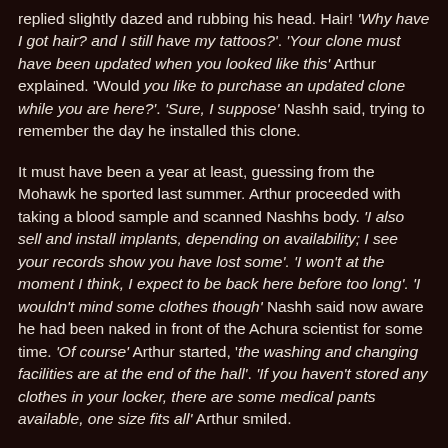replied slightly dazed and rubbing his head. Hair! 'Why have I got hair? and I still have my tattoos?'. 'Your clone must have been updated when you looked like this' Arthur explained. 'Would you like to purchase an updated clone while you are here?'. 'Sure, I suppose' Nashh said, trying to remember the day he installed this clone.
It must have been a year at least, guessing from the Mohawk he sported last summer. Arthur proceeded with taking a blood sample and scanned Nashhs body. 'I also sell and install implants, depending on availability; I see your records show you have lost some'. 'I won't at the moment I think, I expect to be back here before too long'. 'I wouldn't mind some clothes though' Nashh said now aware he had been naked in front of the Achura scientist for some time. 'Of course' Arthur started, 'the washing and changing facilities are at the end of the hall'. 'If you haven't stored any clothes in your locker, there are some medical pants available, one size fits all' Arthur smiled.
The faint whizzing noise from another vat opening came from right beside him. It was her! Her cloned body as perfect